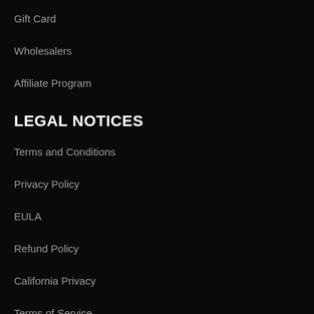Gift Card
Wholesalers
Affiliate Program
LEGAL NOTICES
Terms and Conditions
Privacy Policy
EULA
Refund Policy
California Privacy
Terms of Service
Refund policy
FOLLOW US